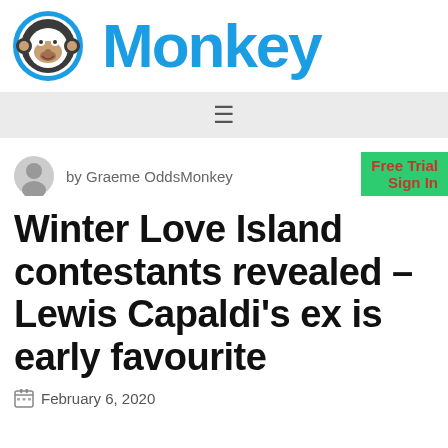Monkey
by Graeme OddsMonkey
Winter Love Island contestants revealed – Lewis Capaldi's ex is early favourite
February 6, 2020